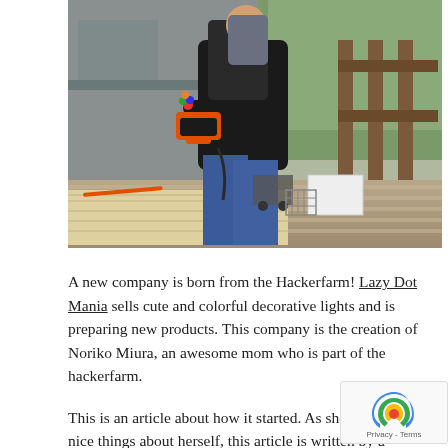[Figure (photo): A person wearing a baby carrier with a baby on their back, using a power tool (orbital sander) on wooden boards on an outdoor deck. Tools and equipment visible in background.]
A new company is born from the Hackerfarm! Lazy Dot Mania sells cute and colorful decorative lights and is preparing new products. This company is the creation of Noriko Miura, an awesome mom who is part of the hackerfarm.
This is an article about how it started. As she is far to say nice things about herself, this article is written by a